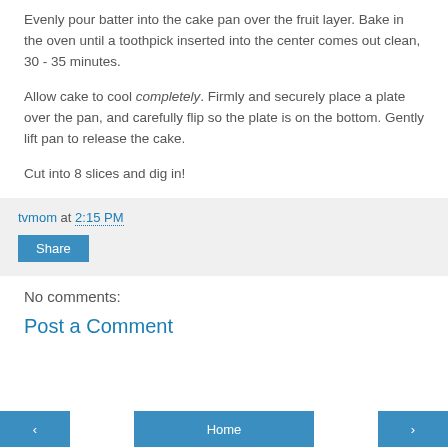Evenly pour batter into the cake pan over the fruit layer. Bake in the oven until a toothpick inserted into the center comes out clean, 30 - 35 minutes.
Allow cake to cool completely. Firmly and securely place a plate over the pan, and carefully flip so the plate is on the bottom. Gently lift pan to release the cake.
Cut into 8 slices and dig in!
tvmom at 2:15 PM
Share
No comments:
Post a Comment
Home